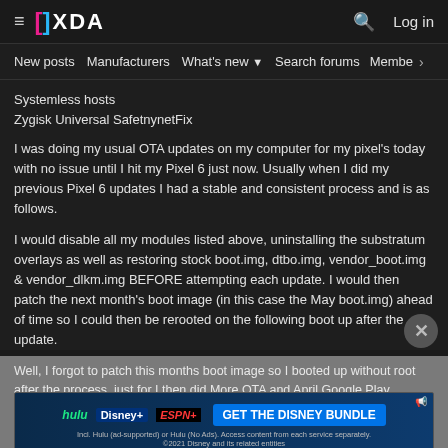≡ XDA  🔍  Log in
New posts  Manufacturers  What's new ▼  Search forums  Members  >
Systemless hosts
Zygisk Universal SafetnynetFix
I was doing my usual OTA updates on my computer for my pixel's today with no issue until I hit my Pixel 6 just now. Usually when I did my previous Pixel 6 updates I had a stable and consistent process and is as follows.
I would disable all my modules listed above, uninstalling the substratum overlays as well as restoring stock boot.img, dtbo.img, vendor_boot.img & vendor_dlkm.img BEFORE attempting each update. I would then patch the next month's boot image (in this case the May boot.img) ahead of time so I could then be rerooted on the following boot up after the update.
Well, I forgot to patch this months boot image so I booted up without root after the process, just for I then did More OTA and April Google Play System U... ...boot and I enabled a... ...ar.
[Figure (screenshot): Disney Bundle advertisement banner with Hulu, Disney+, ESPN+ logos and 'GET THE DISNEY BUNDLE' CTA button]
The problem came when I flashed our Kitsune Ultra, here I got a familiar